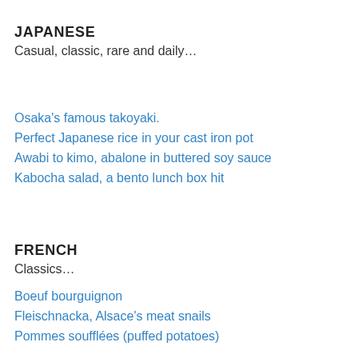JAPANESE
Casual, classic, rare and daily…
Osaka's famous takoyaki.
Perfect Japanese rice in your cast iron pot
Awabi to kimo, abalone in buttered soy sauce
Kabocha salad, a bento lunch box hit
FRENCH
Classics…
Boeuf bourguignon
Fleischnacka, Alsace's meat snails
Pommes soufflées (puffed potatoes)